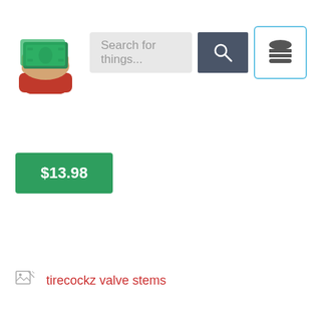[Figure (logo): Hand holding money (cash) logo for a shopping/deals website]
Search for things...
[Figure (illustration): Search icon (magnifying glass) on dark gray background button]
[Figure (illustration): Hamburger menu icon button with light blue border]
$13.98
[Figure (illustration): Broken image placeholder icon]
tirecockz valve stems